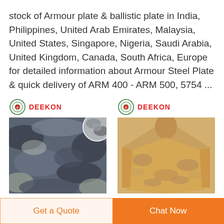stock of Armour plate & ballistic plate in India, Philippines, United Arab Emirates, Malaysia, United States, Singapore, Nigeria, Saudi Arabia, United Kingdom, Canada, South Africa, Europe for detailed information about Armour Steel Plate & quick delivery of ARM 400 - ARM 500, 5754 ...
[Figure (photo): Deekon branded camouflage fabric product image with dark blue/grey digital camo pattern and a close-up circular thumbnail inset]
[Figure (photo): Deekon branded desert camouflage poncho/raincoat product image in tan/brown pattern]
Get a Quote
Chat Now